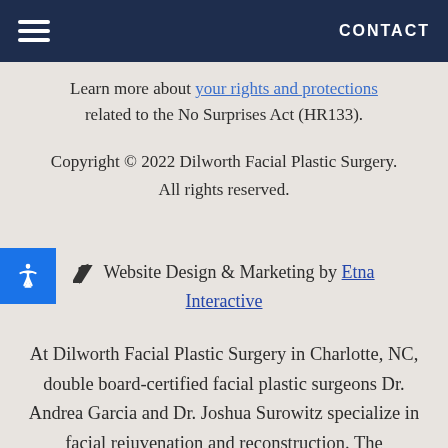CONTACT
Learn more about your rights and protections related to the No Surprises Act (HR133).
Copyright © 2022 Dilworth Facial Plastic Surgery. All rights reserved.
Website Design & Marketing by Etna Interactive
At Dilworth Facial Plastic Surgery in Charlotte, NC, double board-certified facial plastic surgeons Dr. Andrea Garcia and Dr. Joshua Surowitz specialize in facial rejuvenation and reconstruction. The